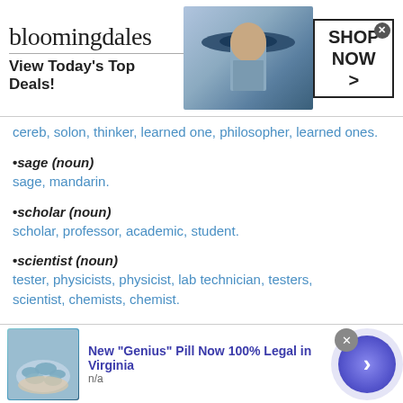[Figure (other): Bloomingdales advertisement banner with logo, model in hat, and 'SHOP NOW >' button]
cereb, solon, thinker, learned one, philosopher, learned ones.
•sage (noun)
sage, mandarin.
•scholar (noun)
scholar, professor, academic, student.
•scientist (noun)
tester, physicists, physicist, lab technician, testers, scientist, chemists, chemist.
•source (noun)
[Figure (other): Bottom advertisement: New 'Genius' Pill Now 100% Legal in Virginia, n/a, with pill image and navigation arrow]